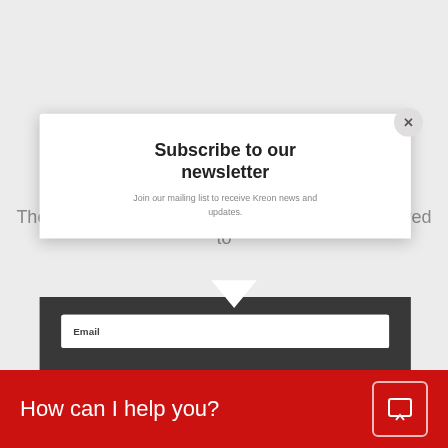EasyClip removable handle
The handle on the Onyx 7-axis arm can be removed to
[Figure (screenshot): Newsletter subscription modal popup with dark bottom section containing an email input field. Modal has white top with title 'Subscribe to our newsletter', subtitle 'Join our mailing list to receive Kreon news and updates.', a close (×) button in the top right, a downward pointing triangle separator, and a dark gray bottom section with an Email input field.]
Co the pr aces at
How can I help you?